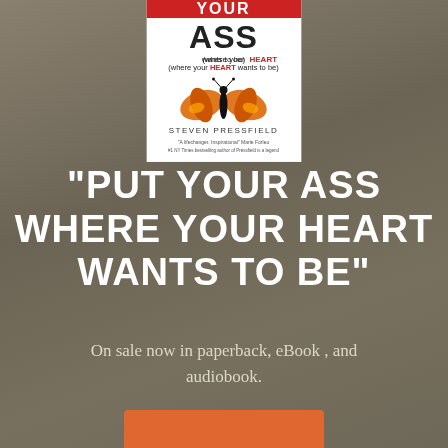[Figure (illustration): Book cover of 'Put Your Ass Where Your Heart Wants to Be' by Steven Pressfield, featuring a butterfly image and text. White cover with bold black and red text.]
"PUT YOUR ASS WHERE YOUR HEART WANTS TO BE"
On sale now in paperback, eBook , and audiobook.
[Figure (other): Orange/red button partially visible at the bottom of the page]